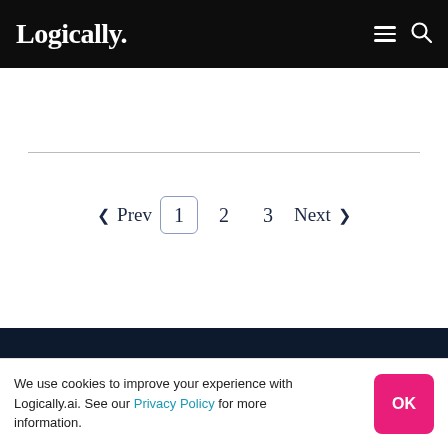Logically.
< Prev  1  2  3  Next >
We use cookies to improve your experience with Logically.ai. See our Privacy Policy for more information.